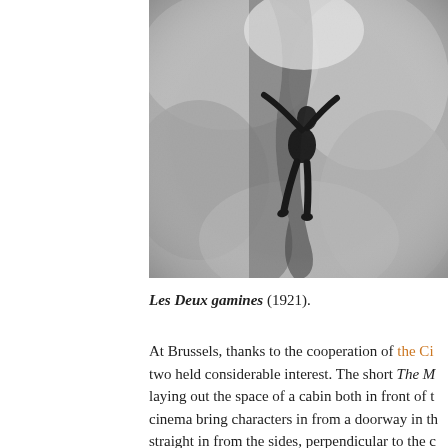[Figure (photo): Black and white film still showing a figure hanging or climbing on rocky terrain, viewed from above or at an angle. The image is high contrast monochrome.]
Les Deux gamines (1921).
At Brussels, thanks to the cooperation of the Ci... two held considerable interest. The short The M... laying out the space of a cabin both in front of t... cinema bring characters in from a doorway in th... straight in from the sides, perpendicular to the c...